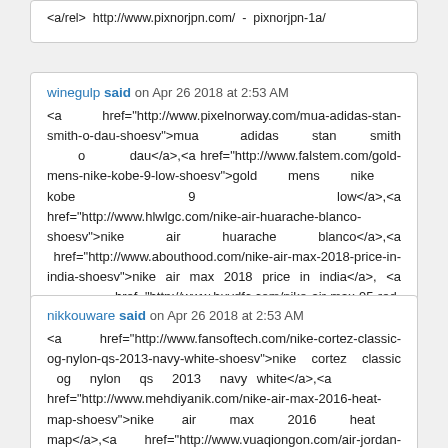<a/rel> http://www.pixnorjpn.com/ - pixnorjpn-1a/
winegulp said on Apr 26 2018 at 2:53 AM
<a href="http://www.pixelnorway.com/mua-adidas-stan-smith-o-dau-shoesv">mua adidas stan smith o dau</a>,<a href="http://www.falstem.com/gold-mens-nike-kobe-9-low-shoesv">gold mens nike kobe 9 low</a>,<a href="http://www.hlwlgc.com/nike-air-huarache-blanco-shoesv">nike air huarache blanco</a>,<a href="http://www.abouthood.com/nike-air-max-2018-price-in-india-shoesv">nike air max 2018 price in india</a>,<a href="http://www.buydfc.com/nike-air-max-95-red-shoesv">nike air max 95 red</a>,<a href="http://www.snapshoppay.com/mens-nike-air-max-2011-grey-neon-green-shoesv">mens nike air max 2011 grey neon green</a>
<a href="http://www.winegulp.com/" >winegulp</a>
nikkouware said on Apr 26 2018 at 2:53 AM
<a href="http://www.fansoftech.com/nike-cortez-classic-og-nylon-qs-2013-navy-white-shoesv">nike cortez classic og nylon qs 2013 navy white</a>,<a href="http://www.mehdiyanik.com/nike-air-max-2016-heat-map-shoesv">nike air max 2016 heat map</a>,<a href="http://www.vuaqiongon.com/air-jordan-true-flight-orange-blue-...